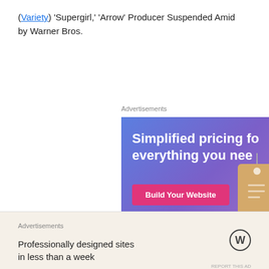(Variety) 'Supergirl,' 'Arrow' Producer Suspended Amid… by Warner Bros.
[Figure (screenshot): WordPress.com advertisement banner with blue-purple gradient background, text 'Simplified pricing fo everything you nee', a pink 'Build Your Website' button, a price tag illustration, and WordPress.com logo.]
[Figure (screenshot): Bottom advertisement bar with beige background, 'Advertisements' label, text 'Professionally designed sites in less than a week', and WordPress logo on the right.]